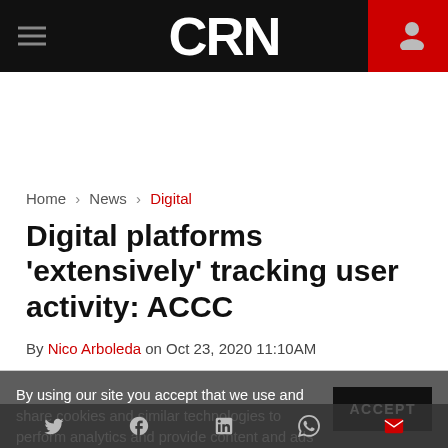CRN
Home > News > Digital
Digital platforms 'extensively' tracking user activity: ACCC
By Nico Arboleda on Oct 23, 2020 11:10AM
By using our site you accept that we use and share cookies and similar technologies to perform analytics and provide content and ads tailored to your interests. By continuing to use our site, you consent to this. Please see our Cookie Policy for more information.